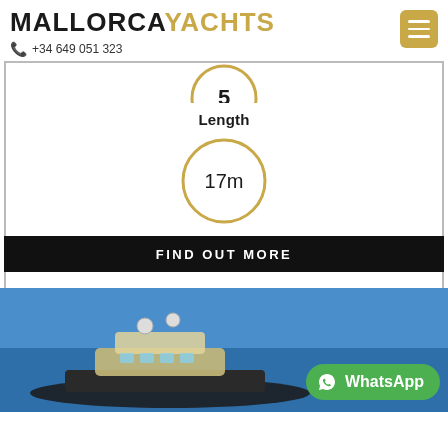MALLORCAYACHTS +34 649 051 323
[Figure (other): Partial gold circle showing number 5 at top]
Length
[Figure (other): Gold circle with text 17m inside]
FIND OUT MORE
[Figure (photo): Aerial view of a luxury motor yacht on blue sea with WhatsApp button overlay]